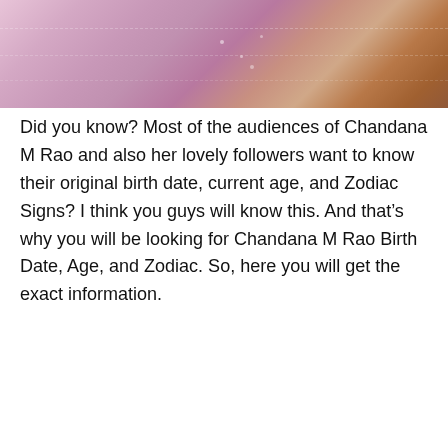[Figure (photo): A photo showing a person wearing a pink/mauve embroidered outfit or lehenga, partial view of the garment with decorative elements visible.]
Did you know? Most of the audiences of Chandana M Rao and also her lovely followers want to know their original birth date, current age, and Zodiac Signs? I think you guys will know this. And that's why you will be looking for Chandana M Rao Birth Date, Age, and Zodiac. So, here you will get the exact information.